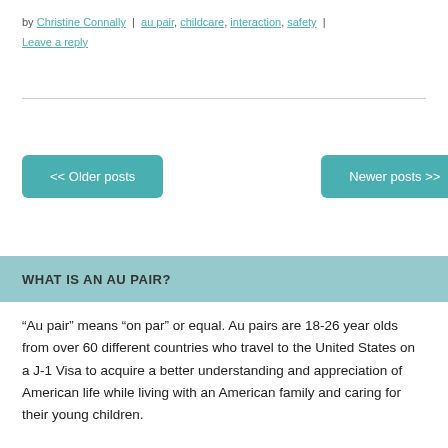by Christine Connally | au pair, childcare, interaction, safety | Leave a reply
WHAT IS AN AU PAIR?
“Au pair” means “on par” or equal. Au pairs are 18-26 year olds from over 60 different countries who travel to the United States on a J-1 Visa to acquire a better understanding and appreciation of American life while living with an American family and caring for their young children.